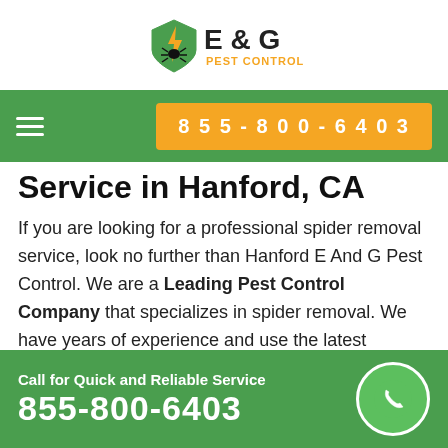[Figure (logo): E & G Pest Control logo with shield icon containing lightning bolt and bug]
855-800-6403
Service in Hanford, CA
If you are looking for a professional spider removal service, look no further than Hanford E And G Pest Control. We are a Leading Pest Control Company that specializes in spider removal. We have years of experience and use the latest technology to get rid of spiders quickly and efficiently. We offer a consultation so that we can assess your spider problem and provide
Call for Quick and Reliable Service 855-800-6403